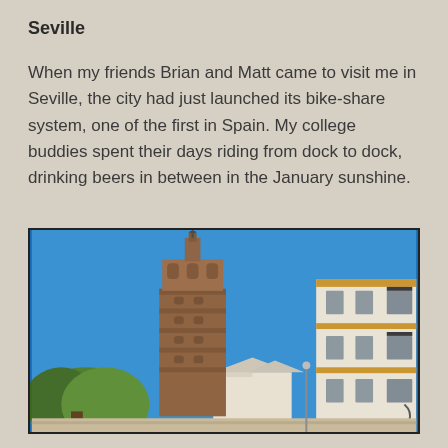Seville
When my friends Brian and Matt came to visit me in Seville, the city had just launched its bike-share system, one of the first in Spain. My college buddies spent their days riding from dock to dock, drinking beers in between in the January sunshine.
[Figure (photo): Street-level view of the Giralda bell tower of Seville Cathedral against a bright blue sky, with white and ochre-coloured traditional buildings on the right and green trees on the lower left.]